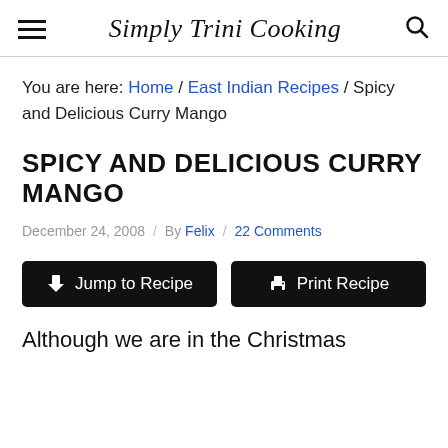Simply Trini Cooking
You are here: Home / East Indian Recipes / Spicy and Delicious Curry Mango
SPICY AND DELICIOUS CURRY MANGO
December 24, 2008 / By Felix / 22 Comments
Jump to Recipe | Print Recipe
Although we are in the Christmas